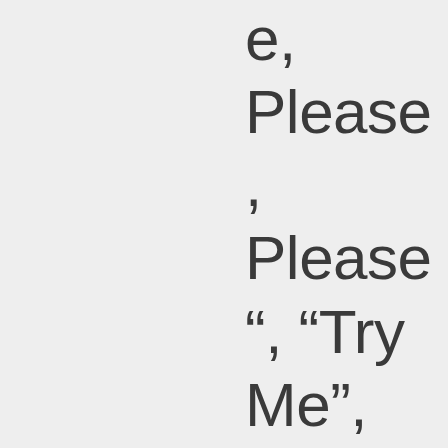e, Please , Please ", “Try Me”, “It’s A Man’s, Man’s World” , and various standards would